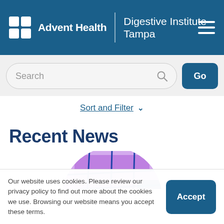AdventHealth | Digestive Institute Tampa
Search
Sort and Filter
Recent News
[Figure (photo): Circular cropped photo showing a colorful building interior with purple/pink tones and blue structural elements]
Our website uses cookies. Please review our privacy policy to find out more about the cookies we use. Browsing our website means you accept these terms.